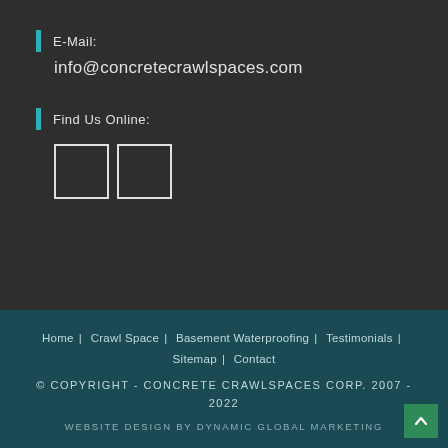E-Mail:
info@concretecrawlspaces.com
Find Us Online:
[Figure (other): Two social media icon placeholder boxes (Facebook and another platform) shown as white-outlined squares]
Home | Crawl Space | Basement Waterproofing | Testimonials | Sitemap | Contact
© COPYRIGHT - CONCRETE CRAWLSPACES CORP. 2007 - 2022
WEBSITE DESIGN BY DYNAMIC GLOBAL MARKETING